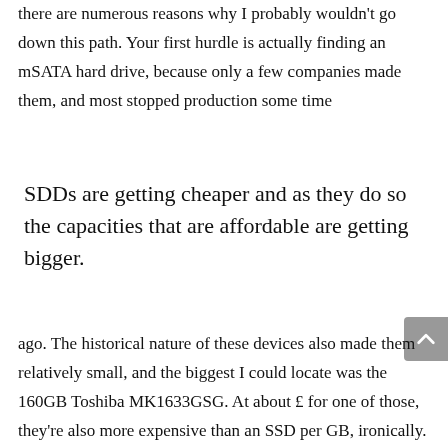there are numerous reasons why I probably wouldn't go down this path. Your first hurdle is actually finding an mSATA hard drive, because only a few companies made them, and most stopped production some time
SDDs are getting cheaper and as they do so the capacities that are affordable are getting bigger.
ago. The historical nature of these devices also made them relatively small, and the biggest I could locate was the 160GB Toshiba MK1633GSG. At about £ for one of those, they're also more expensive than an SSD per GB, ironically. If you can ignore these